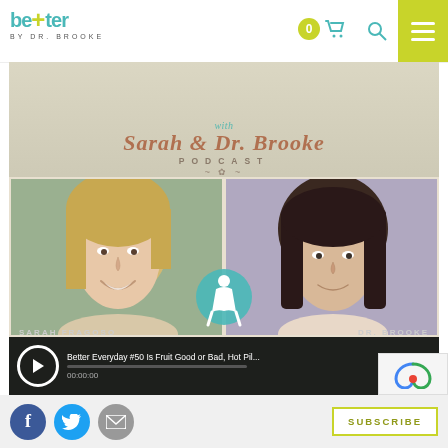[Figure (screenshot): Better by Dr. Brooke website header with logo, cart icon with 0 badge, search icon, and green menu button]
[Figure (photo): Podcast promotional image showing 'with Sarah & Dr. Brooke PODCAST' banner with photos of two women (blonde on left, brunette on right) and a podcast player bar at bottom showing 'Better Everyday #50 Is Fruit Good or Bad, Hot Pil...' at 00:00:00]
Better Everyday #50 Is Fruit Good or Bad, Hot Pil...
00:00:00
MENU
[Figure (logo): reCAPTCHA logo badge in bottom right]
[Figure (logo): Facebook share icon (blue circle with f)]
[Figure (logo): Twitter share icon (blue circle with bird)]
[Figure (logo): Email share icon (grey circle with envelope)]
SUBSCRIBE